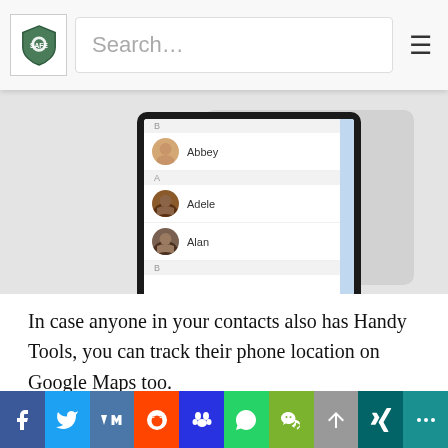Search…
[Figure (screenshot): Phone mockup showing a contacts list app with entries: Abbey (B section), Adele (A section), Alan (A section), with profile photos and a vertical alphabet nav bar on the right.]
In case anyone in your contacts also has Handy Tools, you can track their phone location on Google Maps too.
Fami360
Fami360 is an app for tracking the location of every